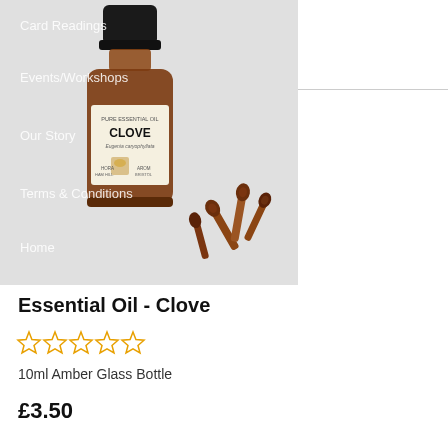[Figure (photo): Product photo showing a small amber glass bottle of Clove pure essential oil with label reading 'PURE ESSENTIAL OIL CLOVE Eugenia caryophyllata HORA AROM HAM HILL BRISTOL', alongside dried clove spices, set against a grey navigation panel background]
Essential Oil - Clove
[Figure (other): Five empty gold star rating icons indicating 0 out of 5 stars]
10ml Amber Glass Bottle
£3.50